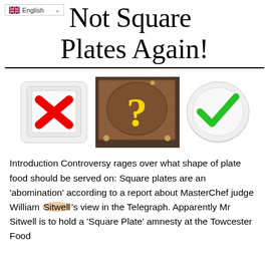English
Not Square Plates Again!
[Figure (illustration): Three images side by side: a square white plate with a red X mark, a brown wooden board with a yellow question mark, and a round white plate with a green checkmark.]
Introduction Controversy rages over what shape of plate food should be served on: Square plates are an 'abomination' according to a report about MasterChef judge William Sitwell's view in the Telegraph. Apparently Mr Sitwell is to hold a 'Square Plate' amnesty at the Towcester Food